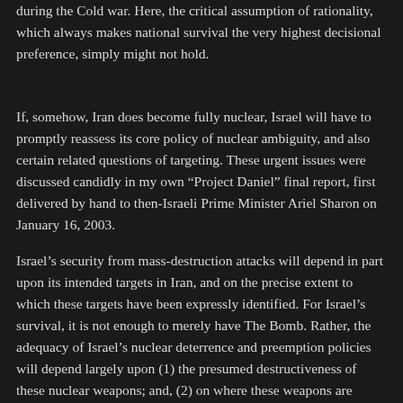during the Cold war. Here, the critical assumption of rationality, which always makes national survival the very highest decisional preference, simply might not hold.
If, somehow, Iran does become fully nuclear, Israel will have to promptly reassess its core policy of nuclear ambiguity, and also certain related questions of targeting. These urgent issues were discussed candidly in my own “Project Daniel” final report, first delivered by hand to then-Israeli Prime Minister Ariel Sharon on January 16, 2003.
Israel’s security from mass-destruction attacks will depend in part upon its intended targets in Iran, and on the precise extent to which these targets have been expressly identified. For Israel’s survival, it is not enough to merely have The Bomb. Rather, the adequacy of Israel’s nuclear deterrence and preemption policies will depend largely upon (1) the presumed destructiveness of these nuclear weapons; and, (2) on where these weapons are thought to be targeted.